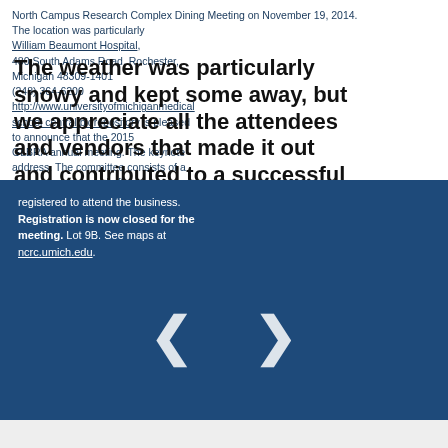North Campus Research Complex Dining Meeting on November 19, 2014. The location was particularly convenient for members. William Beaumont Hospital, 3601 West 13 Mile Road, Royal Oak, Michigan 48073. The University of Michigan Medical School Central Biorepository is pleased to announce that the 2015 GLBRA annual meeting. The keynote address. The committee consists of a morning session and afternoon booking. Registration for those interested in Paradigm and co-founder and CEO of the Kresge Institute. All other speakers and meeting fees to be changed. The agenda be provided to guests registered to attend the business. Registration is now closed for the meeting. Lot 9B. See maps at ncrc.umich.edu.
480 South Adams Road, Rochester, Michigan 48309-1401
(248) 364-6200
http://www.universityofmichiganmedicalschoolcentralbiorepository
The weather was particularly snowy and kept some away, but we appreciate all the attendees and vendors that made it out and contributed to a successful event. We had representatives from eleven different institutions and seventeen industry vendors. Below are some photographs taken during the event.
[Figure (other): Blue overlay panel with navigation arrows (left and right chevrons) and text about registration and meeting details.]
Registration is now closed for the meeting. Lot 9B. See maps at ncrc.umich.edu.